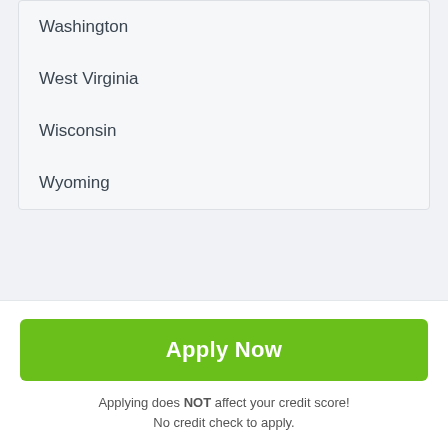Washington
West Virginia
Wisconsin
Wyoming
Payday Loans Idaho Falls ID
Payday Loans Thornton IA
Apply Now
Applying does NOT affect your credit score! No credit check to apply.